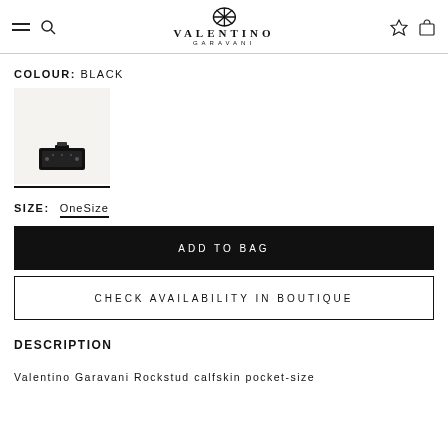VALENTINO GARAVANI
COLOUR: BLACK
[Figure (photo): Small black Valentino Garavani Rockstud pocket-size bag shown as thumbnail on light beige background]
SIZE: OneSize
ADD TO BAG
CHECK AVAILABILITY IN BOUTIQUE
DESCRIPTION
Valentino Garavani Rockstud calfskin pocket-size